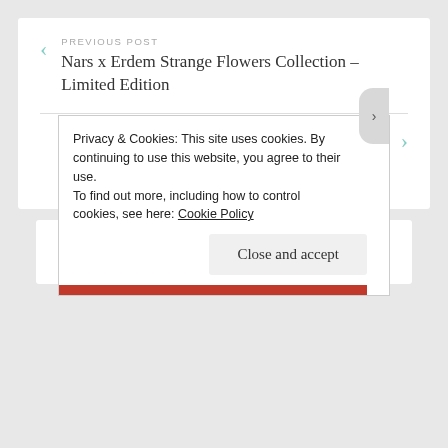PREVIOUS POST
Nars x Erdem Strange Flowers Collection – Limited Edition
NEXT POST
[Review] Dolce Garden EDP – new fragrance by Dolce and Gabbana
2 thoughts on “[Brand spotlight] RMS Beauty”
Privacy & Cookies: This site uses cookies. By continuing to use this website, you agree to their use.
To find out more, including how to control cookies, see here: Cookie Policy
Close and accept